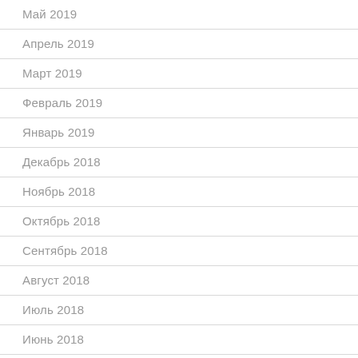Май 2019
Апрель 2019
Март 2019
Февраль 2019
Январь 2019
Декабрь 2018
Ноябрь 2018
Октябрь 2018
Сентябрь 2018
Август 2018
Июль 2018
Июнь 2018
Май 2018
Апрель 2018